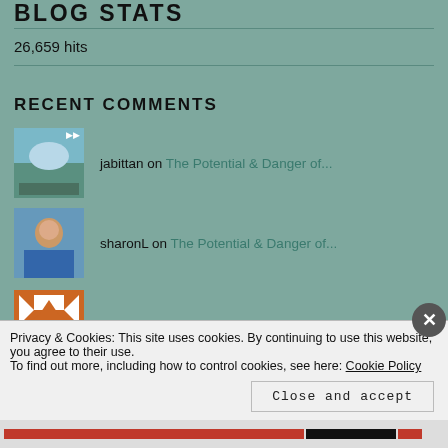BLOG STATS
26,659 hits
RECENT COMMENTS
jabittan on The Potential & Danger of...
sharonL on The Potential & Danger of...
Brady Knapp on Spending Our Days on Autopilot
Privacy & Cookies: This site uses cookies. By continuing to use this website, you agree to their use.
To find out more, including how to control cookies, see here: Cookie Policy
Close and accept